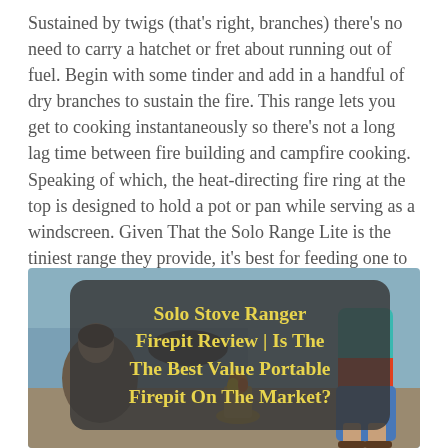Sustained by twigs (that's right, branches) there's no need to carry a hatchet or fret about running out of fuel. Begin with some tinder and add in a handful of dry branches to sustain the fire. This range lets you get to cooking instantaneously so there's not a long lag time between fire building and campfire cooking. Speaking of which, the heat-directing fire ring at the top is designed to hold a pot or pan while serving as a windscreen. Given That the Solo Range Lite is the tiniest range they provide, it's best for feeding one to two starving campers.
[Figure (photo): Outdoor scene of people sitting near a beach or rocky shore with a Solo Stove firepit burning. Overlaid on the image is a dark rounded rectangle containing bold yellow text: 'Solo Stove Ranger Firepit Review | Is The The Best Value Portable Firepit On The Market?']